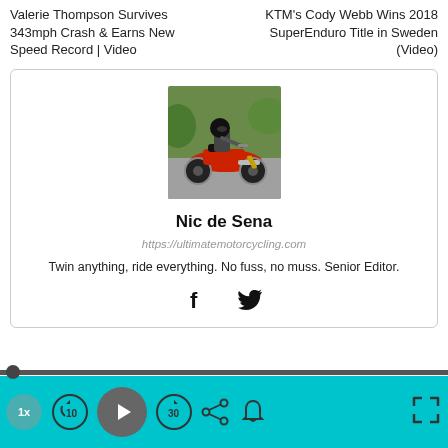Valerie Thompson Survives 343mph Crash & Earns New Speed Record | Video
KTM's Cody Webb Wins 2018 SuperEnduro Title in Sweden (Video)
[Figure (photo): Photo of a motorcyclist on a red classic/cafe-racer style motorcycle leaning into a curve on a road, wearing a black helmet and gray jacket. Green foliage in background.]
Nic de Sena
https://ultimatemotorcycling.com
Twin anything, ride everything. No fuss, no muss. Senior Editor.
[Figure (other): Social media icons: Facebook (f) and Twitter (bird) icons in black]
Media player bar with progress line, speed button 1x, rewind 10s, play, forward 30s, share, bell, expand controls on teal background